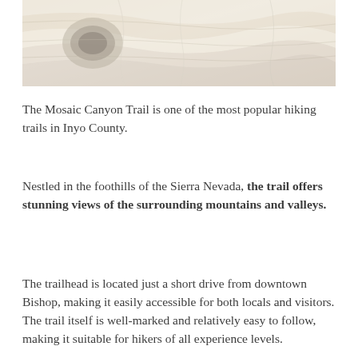[Figure (photo): Close-up photograph of pale white and beige layered sandstone rock formations at Mosaic Canyon, showing curved and smooth canyon walls with striations.]
The Mosaic Canyon Trail is one of the most popular hiking trails in Inyo County.
Nestled in the foothills of the Sierra Nevada, the trail offers stunning views of the surrounding mountains and valleys.
The trailhead is located just a short drive from downtown Bishop, making it easily accessible for both locals and visitors. The trail itself is well-marked and relatively easy to follow, making it suitable for hikers of all experience levels.